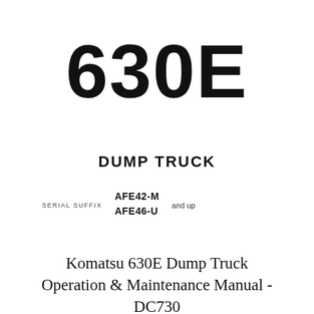630E
DUMP TRUCK
SERIAL SUFFIX   AFE42-M   AFE46-U   and up
Komatsu 630E Dump Truck Operation & Maintenance Manual - DC730